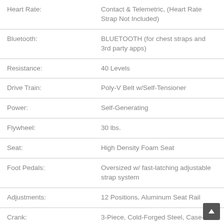| Feature | Specification |
| --- | --- |
| Heart Rate: | Contact & Telemetric, (Heart Rate Strap Not Included) |
| Bluetooth: | BLUETOOTH (for chest straps and 3rd party apps) |
| Resistance: | 40 Levels |
| Drive Train: | Poly-V Belt w/Self-Tensioner |
| Power: | Self-Generating |
| Flywheel: | 30 lbs. |
| Seat: | High Density Foam Seat |
| Foot Pedals: | Oversized w/ fast-latching adjustable strap system |
| Adjustments: | 12 Positions, Aluminum Seat Rail |
| Crank: | 3-Piece, Cold-Forged Steel, Case-Hardened Axle & Commercial-Grade Sealed Bearings |
| Frame: | Heavy-gauge high-strength steel with durable powder-coat paint |
| Unique Features: | 2 USB Ports, CSAFE (for external TV power) Optional TV Bracket |